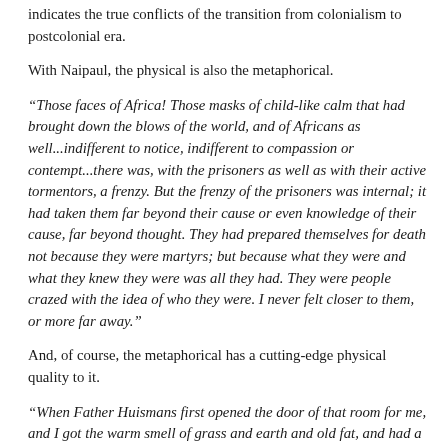indicates the true conflicts of the transition from colonialism to postcolonial era.
With Naipaul, the physical is also the metaphorical.
“Those faces of Africa! Those masks of child-like calm that had brought down the blows of the world, and of Africans as well...indifferent to notice, indifferent to compassion or contempt...there was, with the prisoners as well as with their active tormentors, a frenzy. But the frenzy of the prisoners was internal; it had taken them far beyond their cause or even knowledge of their cause, far beyond thought. They had prepared themselves for death not because they were martyrs; but because what they were and what they knew they were was all they had. They were people crazed with the idea of who they were. I never felt closer to them, or more far away.”
And, of course, the metaphorical has a cutting-edge physical quality to it.
“When Father Huismans first opened the door of that room for me, and I got the warm smell of grass and earth and old fat, and had a confused impression of masks lying in rows on slatted shelves, I thought—This is Zuluish, and his face had the look as with the…